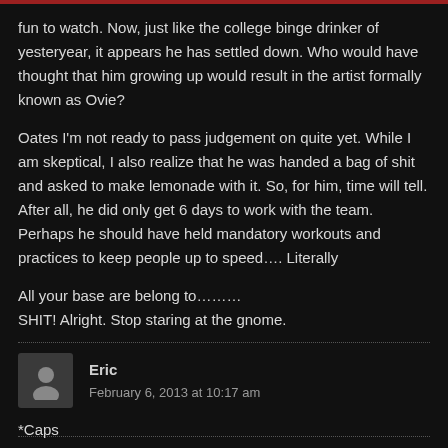fun to watch. Now, just like the college binge drinker of yesteryear, it appears he has settled down. Who would have thought that him growing up would result in the artist formally known as Ovie?
Oates I'm not ready to pass judgement on quite yet. While I am skeptical, I also realize that he was handed a bag of shit and asked to make lemonade with it. So, for him, time will tell. After all, he did only get 6 days to work with the team. Perhaps he should have held mandatory workouts and practices to keep people up to speed…. Literally
All your base are belong to………
SHIT! Alright. Stop staring at the gnome.
Eric
February 6, 2013 at 10:17 am
*Caps